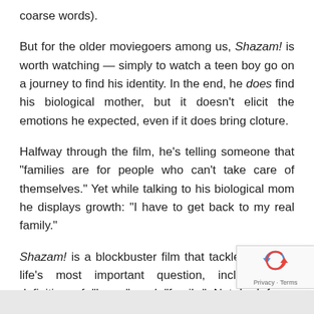coarse words).
But for the older moviegoers among us, Shazam! is worth watching — simply to watch a teen boy go on a journey to find his identity. In the end, he does find his biological mother, but it doesn't elicit the emotions he expected, even if it does bring cloture.
Halfway through the film, he’s telling someone that “families are for people who can’t take care of themselves.” Yet while talking to his biological mom he displays growth: “I have to get back to my real family.”
Shazam! is a blockbuster film that tackles some of life’s most important question, including the definition of “home” and “family.” Not bad for a superhero